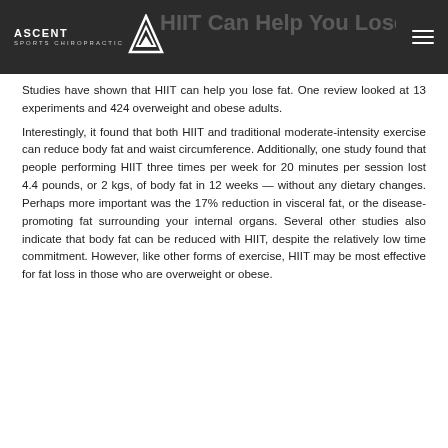HIIT Can Help You Lose Fat — Ascent Sports Chiropractic
Studies have shown that HIIT can help you lose fat. One review looked at 13 experiments and 424 overweight and obese adults.
Interestingly, it found that both HIIT and traditional moderate-intensity exercise can reduce body fat and waist circumference. Additionally, one study found that people performing HIIT three times per week for 20 minutes per session lost 4.4 pounds, or 2 kgs, of body fat in 12 weeks — without any dietary changes. Perhaps more important was the 17% reduction in visceral fat, or the disease-promoting fat surrounding your internal organs. Several other studies also indicate that body fat can be reduced with HIIT, despite the relatively low time commitment. However, like other forms of exercise, HIIT may be most effective for fat loss in those who are overweight or obese.